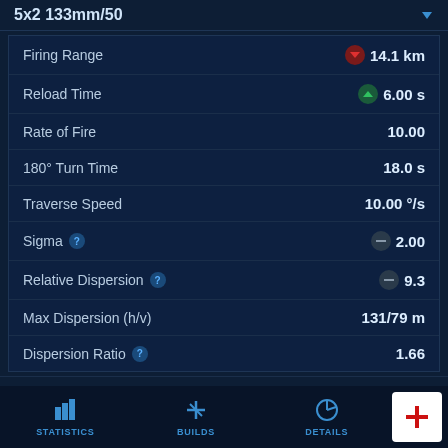5x2 133mm/50
| Stat | Value |
| --- | --- |
| Firing Range | 14.1 km |
| Reload Time | 6.00 s |
| Rate of Fire | 10.00 |
| 180° Turn Time | 18.0 s |
| Traverse Speed | 10.00 °/s |
| Sigma | 2.00 |
| Relative Dispersion | 9.3 |
| Max Dispersion (h/v) | 131/79 m |
| Dispersion Ratio | 1.66 |
HE Shell
| Stat | Value |
| --- | --- |
| Max Damage | 1 900 |
STATISTICS  BUILDS  DETAILS